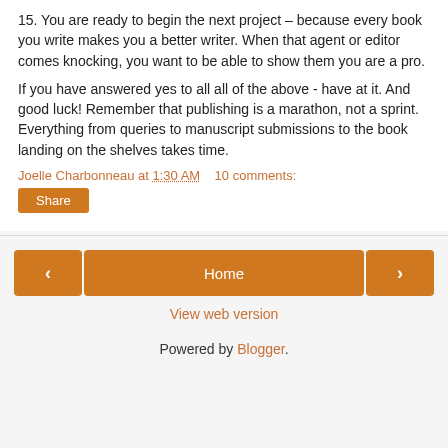15. You are ready to begin the next project – because every book you write makes you a better writer. When that agent or editor comes knocking, you want to be able to show them you are a pro.
If you have answered yes to all all of the above - have at it. And good luck! Remember that publishing is a marathon, not a sprint. Everything from queries to manuscript submissions to the book landing on the shelves takes time.
Joelle Charbonneau at 1:30 AM   10 comments:
Share
Home
View web version
Powered by Blogger.